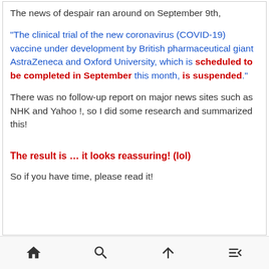The news of despair ran around on September 9th,
“The clinical trial of the new coronavirus (COVID-19) vaccine under development by British pharmaceutical giant AstraZeneca and Oxford University, which is scheduled to be completed in September this month, is suspended.”
There was no follow-up report on major news sites such as NHK and Yahoo !, so I did some research and summarized this!
The result is … it looks reassuring! (lol)
So if you have time, please read it!